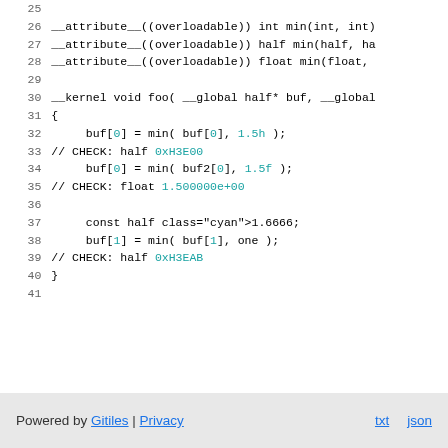[Figure (screenshot): Code listing showing lines 25-41 of a C/OpenCL kernel source file with syntax highlighting. Includes __attribute__((overloadable)) function declarations for min(), a __kernel void foo() function body with buf/buf2 operations and CHECK comments for half and float values.]
Powered by Gitiles | Privacy  txt  json